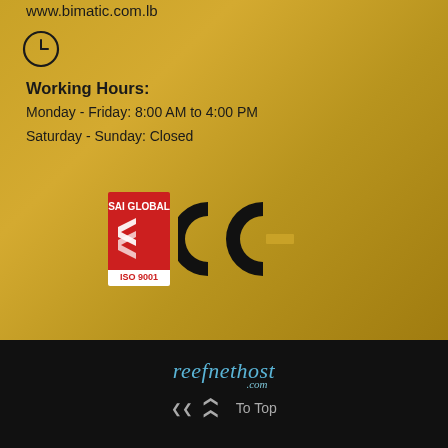www.bimatic.com.lb
[Figure (illustration): Clock icon (circle with clock hands)]
Working Hours:
Monday - Friday: 8:00 AM to 4:00 PM
Saturday - Sunday: Closed
[Figure (logo): SAI Global ISO 9001 Certified System red badge logo and CE certification mark]
[Figure (logo): reefnethost.com logo in cursive white/blue text]
To Top